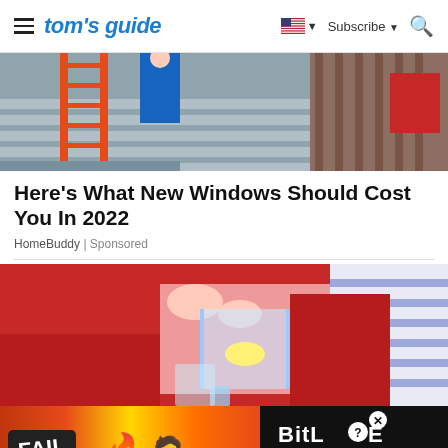tom's guide | Subscribe
[Figure (photo): Person on a ladder doing home improvement work on house siding]
Here's What New Windows Should Cost You In 2022
HomeBuddy | Sponsored
[Figure (photo): Person in red sweater pouring liquid from a glass pitcher into a glass]
[Figure (other): BitLife game advertisement banner: FAIL text, fire and face-palm emojis, BitLife logo, START A NEW LIFE text]